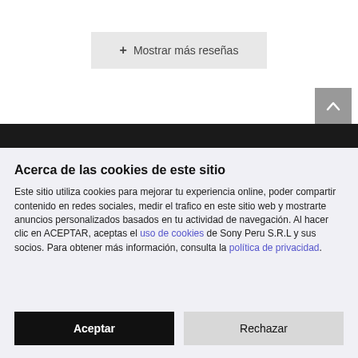+ Mostrar más reseñas
[Figure (screenshot): Scroll-to-top button (upward chevron on grey background)]
Acerca de las cookies de este sitio
Este sitio utiliza cookies para mejorar tu experiencia online, poder compartir contenido en redes sociales, medir el trafico en este sitio web y mostrarte anuncios personalizados basados en tu actividad de navegación. Al hacer clic en ACEPTAR, aceptas el uso de cookies de Sony Peru S.R.L y sus socios. Para obtener más información, consulta la política de privacidad.
Aceptar
Rechazar